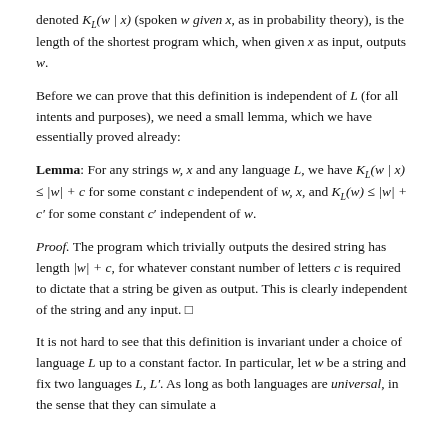denoted K_L(w|x) (spoken w given x, as in probability theory), is the length of the shortest program which, when given x as input, outputs w.
Before we can prove that this definition is independent of L (for all intents and purposes), we need a small lemma, which we have essentially proved already:
Lemma: For any strings w, x and any language L, we have K_L(w|x) ≤ |w| + c for some constant c independent of w, x, and K_L(w) ≤ |w| + c' for some constant c' independent of w.
Proof. The program which trivially outputs the desired string has length |w| + c, for whatever constant number of letters c is required to dictate that a string be given as output. This is clearly independent of the string and any input. □
It is not hard to see that this definition is invariant under a choice of language L up to a constant factor. In particular, let w be a string and fix two languages L, L'. As long as both languages are universal, in the sense that they can simulate a